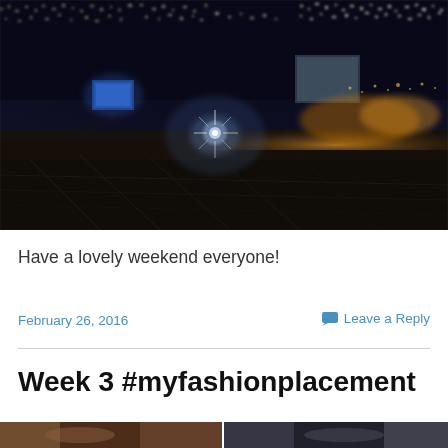[Figure (photo): Nighttime cityscape photograph showing city skyline with illuminated skyscraper windows in background, a bright starburst light source in the middle ground, billboard screens, and a dark foreground rooftop or terrace area with ambient city glow]
Have a lovely weekend everyone!
February 26, 2016
Leave a Reply
Week 3 #myfashionplacement
[Figure (photo): Two partial thumbnail photos at the bottom of the page, left showing warm tones (person or fashion item), right showing cooler tones (fashion or street scene)]